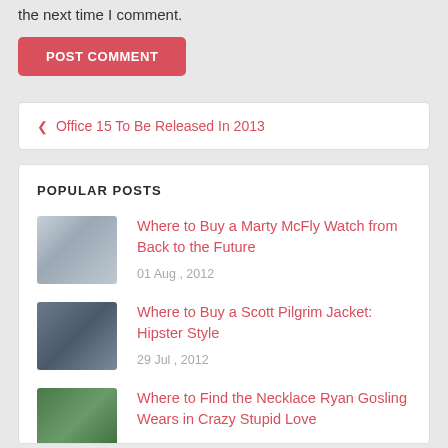the next time I comment.
POST COMMENT
❮ Office 15 To Be Released In 2013
POPULAR POSTS
[Figure (photo): Thumbnail image for Marty McFly watch article]
Where to Buy a Marty McFly Watch from Back to the Future
01 Aug , 2012
[Figure (photo): Thumbnail image for Scott Pilgrim jacket article]
Where to Buy a Scott Pilgrim Jacket: Hipster Style
29 Jul , 2012
[Figure (photo): Thumbnail image for Ryan Gosling necklace article]
Where to Find the Necklace Ryan Gosling Wears in Crazy Stupid Love